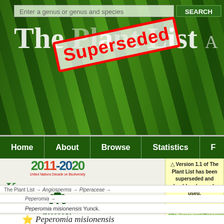[Figure (screenshot): The Plant List website header with green leaf background, search bar, and 'Superseded' red stamp overlay]
Enter a genus or genus and species   SEARCH
The Plant List
[Figure (illustration): Red diagonal 'Superseded' stamp over The Plant List title]
Home | About | Browse | Statistics | F
[Figure (logo): 2011-2020 United Nations Decade on Biodiversity logo]
[Figure (logo): Kew logo]
[Figure (logo): Missouri Botanical Garden logo]
⚠ Version 1.1 of The Plant List has been superseded and should no longer be used. The new version is available at http://www.worldfloraonline.org. The new version is enhanced, using more data sources including Taxonomic Expert Networks and will be more frequently updated.
The Plant List → Angiosperms → Piperaceae →
Peperomia →
Peperomia misionensis Yunck.
Peperomia misionensis